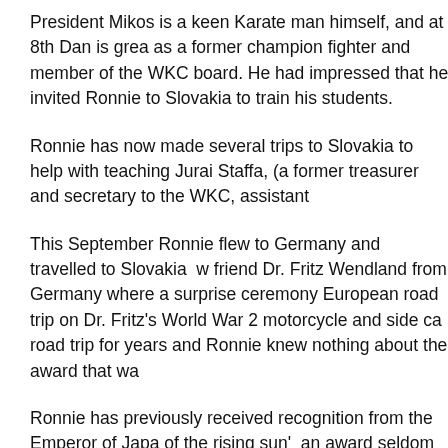President Mikos is a keen Karate man himself, and at 8th Dan is grea as a former champion fighter and member of the WKC board. He had impressed that he invited Ronnie to Slovakia to train his students.
Ronnie has now made several trips to Slovakia to help with teaching Jurai Staffa, (a former treasurer and secretary to the WKC, assistant
This September Ronnie flew to Germany and travelled to Slovakia w friend Dr. Fritz Wendland from Germany where a surprise ceremony European road trip on Dr. Fritz's World War 2 motorcycle and side ca road trip for years and Ronnie knew nothing about the award that wa
Ronnie has previously received recognition from the Emperor of Japa of the rising sun' an award seldom given to people outside Japan. Th majesty the Queen and previously Ronnie has been recognised by A Personality of the Year' on more than one occasion.
Now aged 67 years young, 8th Dan Black Belt Ronnie Watt still train children the traditional Shotokan karate discipline which has helped s becoming famous for in the karate world, Ronnie has helped tens of